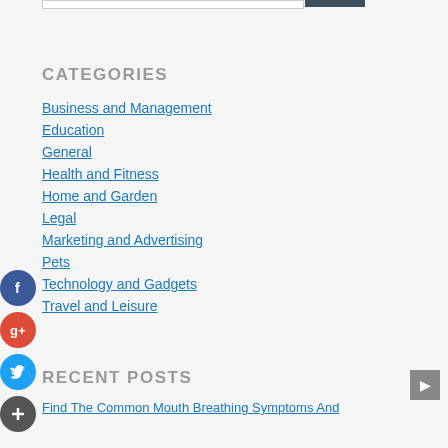CATEGORIES
Business and Management
Education
General
Health and Fitness
Home and Garden
Legal
Marketing and Advertising
Pets
Technology and Gadgets
Travel and Leisure
RECENT POSTS
Find The Common Mouth Breathing Symptoms And